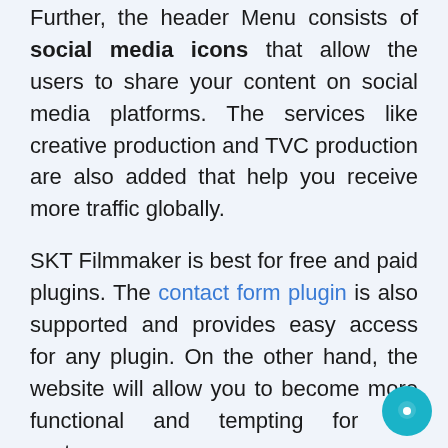Further, the header Menu consists of social media icons that allow the users to share your content on social media platforms. The services like creative production and TVC production are also added that help you receive more traffic globally.
SKT Filmmaker is best for free and paid plugins. The contact form plugin is also supported and provides easy access for any plugin. On the other hand, the website will allow you to become more functional and tempting for the customers.
My Dog Lite